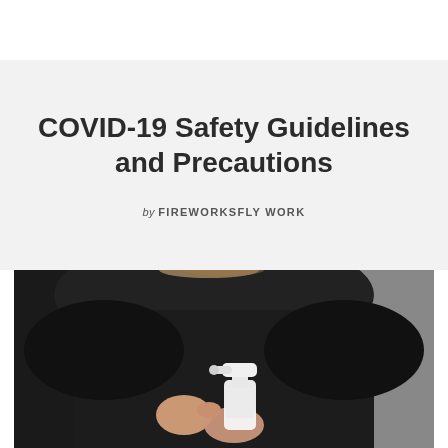COVID-19 Safety Guidelines and Precautions
by FIREWORKSFLY WORK
[Figure (photo): A person wearing a black top using a pump bottle of hand sanitizer, photographed from the neck down against a blurred gray background.]